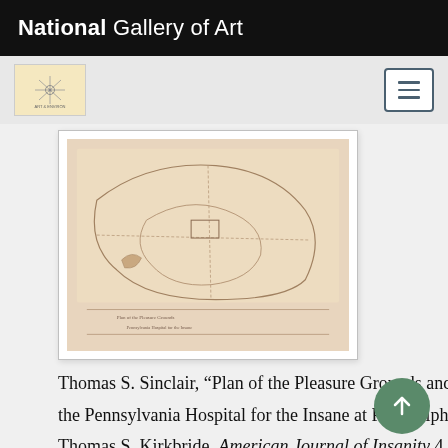National Gallery of Art
[Figure (logo): National Gallery of Art logo — small compass/rosette icon on cream background, with menu (hamburger) button on the right]
[Figure (photo): Faded pencil/ink drawing of a landscape plan — 'Plan of the Pleasure Grounds and Farm of the Pennsylvania Hospital for the Insane at Philadelphia' — shown against white mat inside a card/frame]
Thomas S. Sinclair, “Plan of the Pleasure Grounds and Farm of the Pennsylvania Hospital for the Insane at Philadelphia,” in Thomas S. Kirkbride, American Journal of Insanity 4 (April 1848), plate opp. p. 328